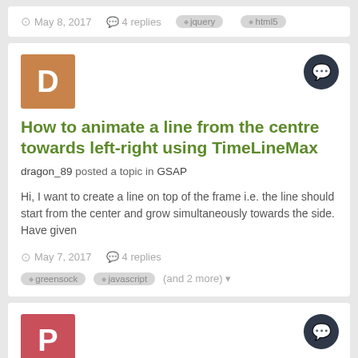May 8, 2017  4 replies  jquery  html5
How to animate a line from the centre towards left-right using TimeLineMax
dragon_89 posted a topic in GSAP
Hi, I want to create a line on top of the frame i.e. the line should start from the center and grow simultaneously towards the side. Have given
May 7, 2017  4 replies  greensock  javascript  (and 2 more)
Fill Missing Part of SVG
piyushwalia posted a topic in GSAP